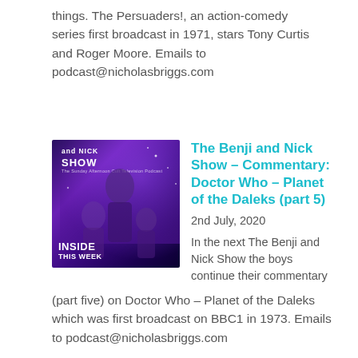things. The Persuaders!, an action-comedy series first broadcast in 1971, stars Tony Curtis and Roger Moore. Emails to podcast@nicholasbriggs.com
[Figure (illustration): Podcast artwork for The Benji and Nick Show featuring Doctor Who characters against a purple cosmic background, with text 'NICK SHOW' and 'INSIDE THIS WEEK' at the bottom.]
The Benji and Nick Show – Commentary: Doctor Who – Planet of the Daleks (part 5)
2nd July, 2020
In the next The Benji and Nick Show the boys continue their commentary (part five) on Doctor Who – Planet of the Daleks which was first broadcast on BBC1 in 1973. Emails to podcast@nicholasbriggs.com